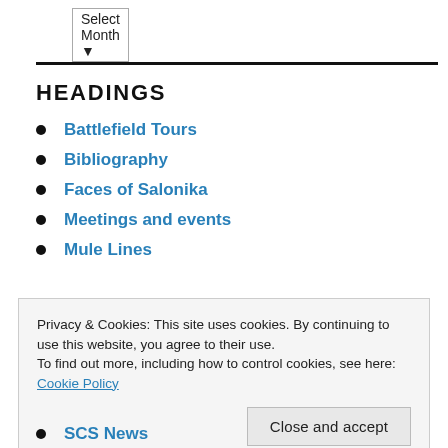Select Month ▼
HEADINGS
Battlefield Tours
Bibliography
Faces of Salonika
Meetings and events
Mule Lines
Privacy & Cookies: This site uses cookies. By continuing to use this website, you agree to their use.
To find out more, including how to control cookies, see here: Cookie Policy
Close and accept
SCS News